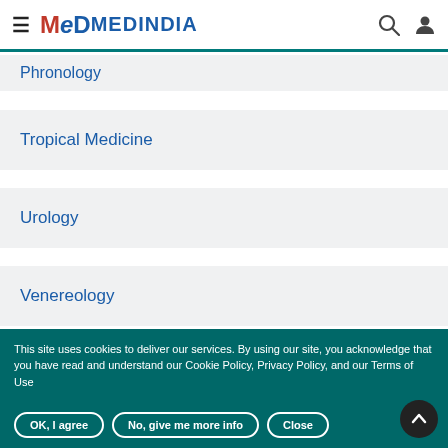MEDINDIA
Phronology
Tropical Medicine
Urology
Venereology
Virology
Medindia Newsletters
This site uses cookies to deliver our services. By using our site, you acknowledge that you have read and understand our Cookie Policy, Privacy Policy, and our Terms of Use
OK, I agree   No, give me more info   Close